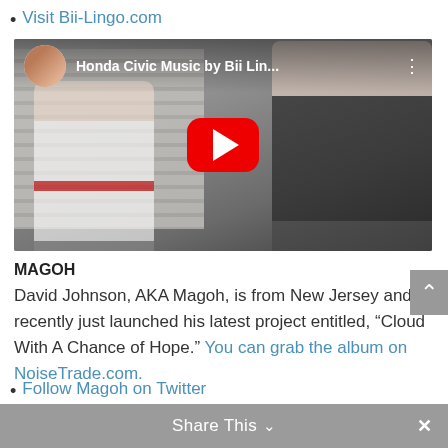Visit Bii-Lingo.com
[Figure (screenshot): YouTube video thumbnail showing two people in front of a garage. Title reads 'Honda Civic Music by Bii Lin...' with YouTube play button overlay.]
MAGOH
David Johnson, AKA Magoh, is from New Jersey and recently just launched his latest project entitled, “Cloud With A Chance of Hope.” You can grab the album on NoiseTrade.com.
Follow Magoh on Twitter